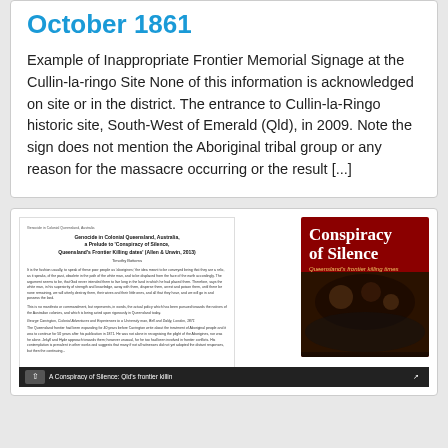October 1861
Example of Inappropriate Frontier Memorial Signage at the Cullin-la-ringo Site None of this information is acknowledged on site or in the district. The entrance to Cullin-la-Ringo historic site, South-West of Emerald (Qld), in 2009. Note the sign does not mention the Aboriginal tribal group or any reason for the massacre occurring or the result [...]
[Figure (photo): A scanned document page titled 'Genocide in Colonial Queensland, Australia, a Prelude to Conspiracy of Silence, Queensland's Frontier Killing dates' by Timothy Bottoms, alongside a book cover for 'Conspiracy of Silence: Queensland's frontier killing times' with a historical photograph of Aboriginal people. Below is a video bar reading 'A Conspiracy of Silence: Qld's frontier killin']